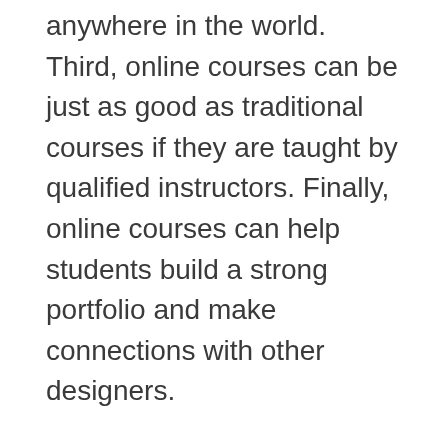anywhere in the world. Third, online courses can be just as good as traditional courses if they are taught by qualified instructors. Finally, online courses can help students build a strong portfolio and make connections with other designers.
Blue Sky Graphics is a well known online graphic design school and a strong competitor for graphic design courses. Check out their courses today to begin your journey in graphic design!